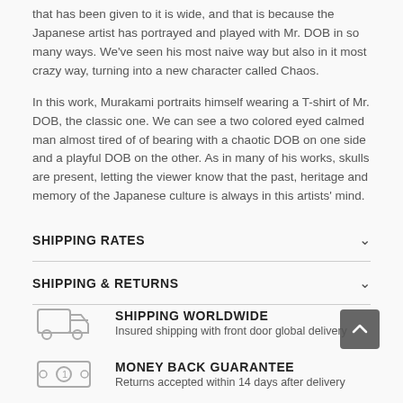that has been given to it is wide, and that is because the Japanese artist has portrayed and played with Mr. DOB in so many ways. We've seen his most naive way but also in it most crazy way, turning into a new character called Chaos.
In this work, Murakami portraits himself wearing a T-shirt of Mr. DOB, the classic one. We can see a two colored eyed calmed man almost tired of of bearing with a chaotic DOB on one side and a playful DOB on the other. As in many of his works, skulls are present, letting the viewer know that the past, heritage and memory of the Japanese culture is always in this artists' mind.
SHIPPING RATES
SHIPPING & RETURNS
SHIPPING WORLDWIDE
Insured shipping with front door global delivery
MONEY BACK GUARANTEE
Returns accepted within 14 days after delivery